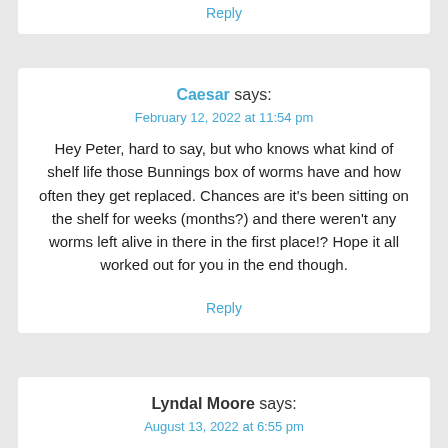Reply
Caesar says:
February 12, 2022 at 11:54 pm
Hey Peter, hard to say, but who knows what kind of shelf life those Bunnings box of worms have and how often they get replaced. Chances are it's been sitting on the shelf for weeks (months?) and there weren't any worms left alive in there in the first place!? Hope it all worked out for you in the end though.
Reply
Lyndal Moore says:
August 13, 2022 at 6:55 pm